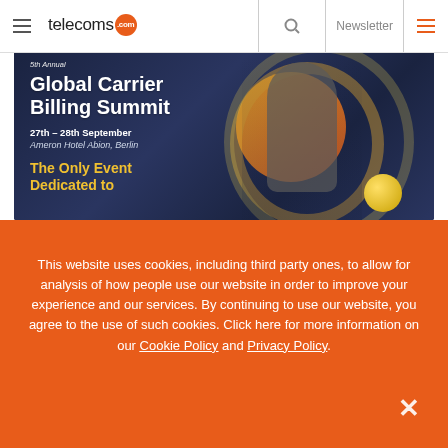telecoms.com | Newsletter
[Figure (illustration): Global Carrier Billing Summit banner: dark navy blue background with orange/gold circular arcs and decorative elements, person silhouette on right, yellow circle. Text reads: '5th Annual Global Carrier Billing Summit, 27th – 28th September, Ameron Hotel Abion, Berlin, The Only Event Dedicated to...']
This website uses cookies, including third party ones, to allow for analysis of how people use our website in order to improve your experience and our services. By continuing to use our website, you agree to the use of such cookies. Click here for more information on our Cookie Policy and Privacy Policy.